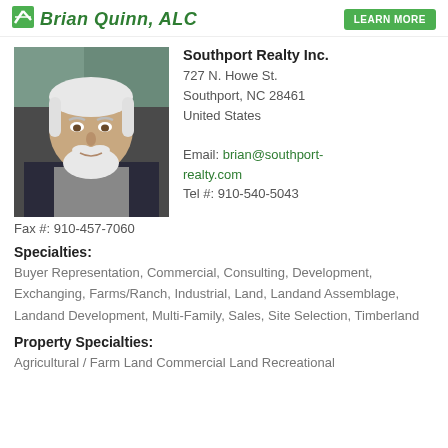Brian Quinn, ALC — LEARN MORE
[Figure (photo): Headshot photo of Brian Quinn, an older man with white hair and white beard, sitting in a vehicle]
Southport Realty Inc.
727 N. Howe St.
Southport, NC 28461
United States
Email: brian@southport-realty.com
Tel #: 910-540-5043
Fax #: 910-457-7060
Specialties:
Buyer Representation, Commercial, Consulting, Development, Exchanging, Farms/Ranch, Industrial, Land, Landand Assemblage, Landand Development, Multi-Family, Sales, Site Selection, Timberland
Property Specialties:
Agricultural / Farm Land Commercial Land Recreational